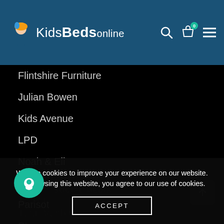KidsBeds Online
Flintshire Furniture
Julian Bowen
Kids Avenue
LPD
Noah & Eli
Obaby
Parisot
Steens
Stompa
Thuka
Tutti Bambini
SOCIAL MEDIA
We use cookies to improve your experience on our website. By browsing this website, you agree to our use of cookies.
ACCEPT